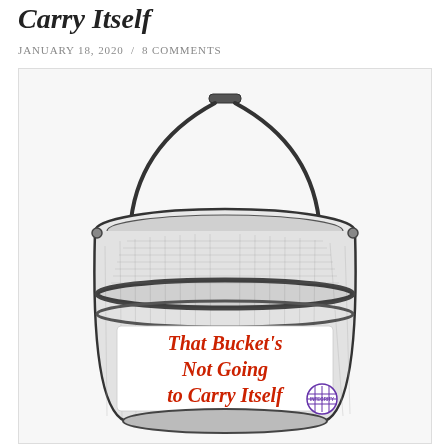Carry Itself
JANUARY 18, 2020 / 8 COMMENTS
[Figure (illustration): Black and white engraving-style illustration of a 5-gallon bucket with a metal handle arched over the top. The bucket label reads in bold red italic text: 'That Bucket's Not Going to Carry Itself'. A small purple logo with a grid pattern and the text 'INTEGRITY' appears on the lower right of the bucket label.]